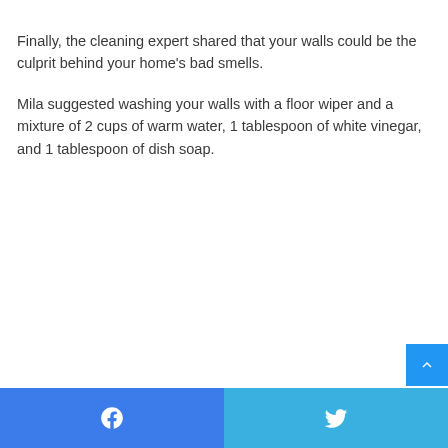Finally, the cleaning expert shared that your walls could be the culprit behind your home's bad smells.
Mila suggested washing your walls with a floor wiper and a mixture of 2 cups of warm water, 1 tablespoon of white vinegar, and 1 tablespoon of dish soap.
Facebook | Twitter share buttons